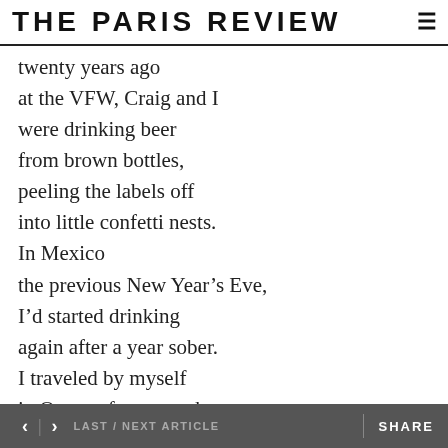THE PARIS REVIEW
twenty years ago
at the VFW, Craig and I
were drinking beer
from brown bottles,
peeling the labels off
into little confetti nests.
In Mexico
the previous New Year’s Eve,
I’d started drinking
again after a year sober.
I traveled by myself
in Oaxaca for a month
and had at least two
beautiful experiences.
The bus I was on broke
< > LAST / NEXT ARTICLE    SHARE